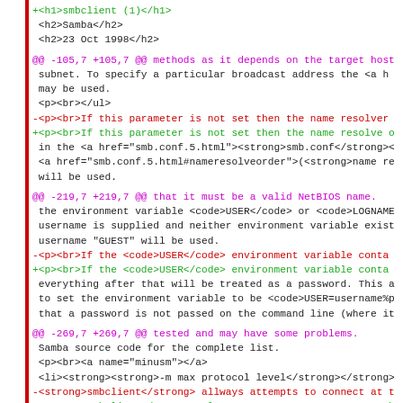+<h1>smbclient (1)</h1>
<h2>Samba</h2>
<h2>23 Oct 1998</h2>
@@ -105,7 +105,7 @@ methods as it depends on the target host subnet. To specify a particular broadcast address the <a h may be used. <p><br></ul> -<p><br>If this parameter is not set then the name resolver +<p><br>If this parameter is not set then the name resolve o in the <a href="smb.conf.5.html"><strong>smb.conf</strong>< <a href="smb.conf.5.html#nameresolveorder">(<strong>name re will be used.
@@ -219,7 +219,7 @@ that it must be a valid NetBIOS name. the environment variable <code>USER</code> or <code>LOGNAME username is supplied and neither environment variable exist username "GUEST" will be used. -<p><br>If the <code>USER</code> environment variable conta +<p><br>If the <code>USER</code> environment variable conta everything after that will be treated as a password. This a to set the environment variable to be <code>USER=username%p that a password is not passed on the command line (where it
@@ -269,7 +269,7 @@ tested and may have some problems. Samba source code for the complete list. <p><br><a name="minusm"></a> <li><strong><strong>-m max protocol level</strong></strong> -<strong>smbclient</strong> allways attempts to connect at t +<strong>smbclient</strong> always attempts to connect at th protocols level the server supports. This parameter is preserved for backwards compatibility, but any string following the <strong>-m</strong> will be ignored.